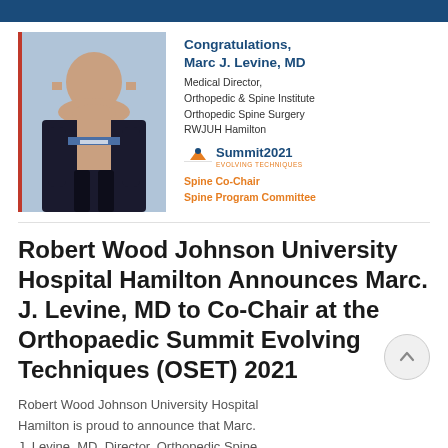[Figure (photo): Professional headshot of Marc J. Levine, MD in a dark suit with blue tie against a blue-grey background]
Congratulations, Marc J. Levine, MD
Medical Director,
Orthopedic & Spine Institute
Orthopedic Spine Surgery
RWJUH Hamilton
[Figure (logo): Summit 2021 Evolving Techniques logo]
Spine Co-Chair
Spine Program Committee
Robert Wood Johnson University Hospital Hamilton Announces Marc. J. Levine, MD to Co-Chair at the Orthopaedic Summit Evolving Techniques (OSET) 2021
Robert Wood Johnson University Hospital Hamilton is proud to announce that Marc. J. Levine, MD, Director, Orthopedic Spine